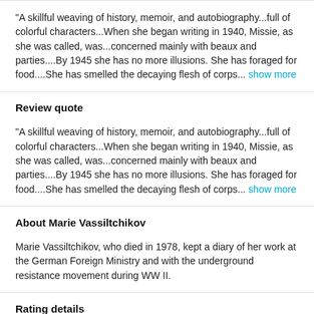"A skillful weaving of history, memoir, and autobiography...full of colorful characters...When she began writing in 1940, Missie, as she was called, was...concerned mainly with beaux and parties....By 1945 she has no more illusions. She has foraged for food....She has smelled the decaying flesh of corps... show more
Review quote
"A skillful weaving of history, memoir, and autobiography...full of colorful characters...When she began writing in 1940, Missie, as she was called, was...concerned mainly with beaux and parties....By 1945 she has no more illusions. She has foraged for food....She has smelled the decaying flesh of corps... show more
About Marie Vassiltchikov
Marie Vassiltchikov, who died in 1978, kept a diary of her work at the German Foreign Ministry and with the underground resistance movement during WW II.
Rating details